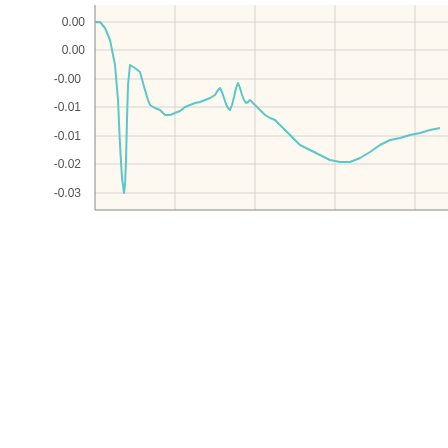[Figure (continuous-plot): Top chart (partially visible): a line plot with y-axis ranging from about -20 to 10+, x-axis from -10 to 5+. A teal/cyan curve dips to about -18 near x=-3 then rises steeply.]
Cm v Alph
[Figure (continuous-plot): Bottom chart titled 'Cm v Alpha': a line plot with y-axis from 0.00 to -0.03, x-axis not fully visible. A teal/cyan curve shows a sharp dip near the left, then oscillating features around the middle, then rising toward the right.]